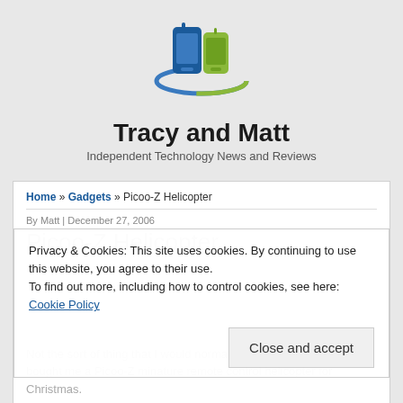[Figure (logo): Tracy and Matt website logo - two stylized mobile phone devices in blue and green with orbital ring around them]
Tracy and Matt
Independent Technology News and Reviews
Home » Gadgets » Picoo-Z Helicopter
By Matt | December 27, 2006
Picoo-Z Helicopter
Privacy & Cookies: This site uses cookies. By continuing to use this website, you agree to their use. To find out more, including how to control cookies, see here: Cookie Policy
Close and accept
Not the sort of thing that I would normally blog about but Iain bought me a Picoo-Z minature remote control helicopter for Christmas.
For those of you that haven't seen these yet the Picoo-Z is an amazing piece of engineering. These helicopters are two channel